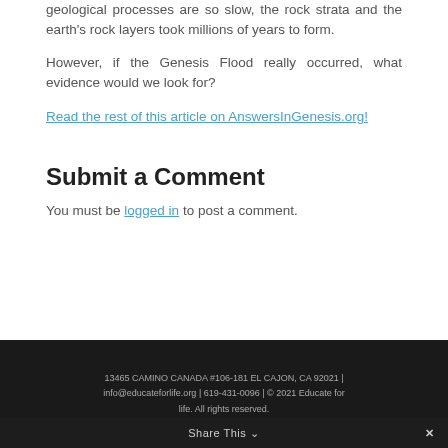geological processes are so slow, the rock strata and the earth's rock layers took millions of years to form.
However, if the Genesis Flood really occurred, what evidence would we look for?
Read the rest of this article on AnswersInGenesis.org!
Submit a Comment
You must be logged in to post a comment.
13465 CAMINO CANADA #106-181 EL CAJON, CA 92021 | info@educateforlife.org | 619-431-0096 | © 2021 Educate for life. All rights reserved.